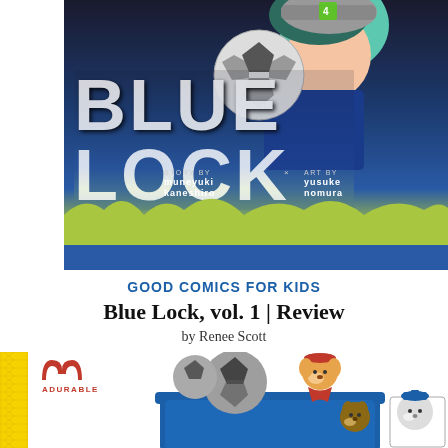[Figure (illustration): Blue Lock manga volume 1 cover art featuring an anime character in blue uniform with soccer ball, large distressed 'BLUE LOCK' title text, story by Muneyuki Kaneshiro, art by Yusuke Nomura, green paint splashes background]
GOOD COMICS FOR KIDS
Blue Lock, vol. 1 | Review
by Renee Scott
[Figure (illustration): Adurable logo with cartoon animals (dog, bear, polar bear) in a blue trash/recycling bin with soccer balls, yellow ruler on left side]